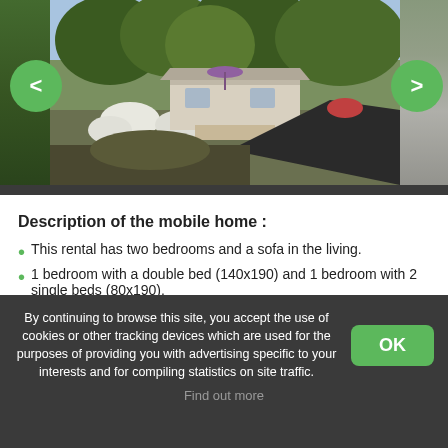[Figure (photo): Exterior photo of a mobile home surrounded by trees and vegetation, with a purple umbrella visible on a deck. Navigation arrows (< and >) in green circles on either side.]
Description of the mobile home :
This rental has two bedrooms and a sofa in the living.
1 bedroom with a double bed (140x190) and 1 bedroom with 2 single beds (80x190).
Bathroom with shower. Separate WC.
By continuing to browse this site, you accept the use of cookies or other tracking devices which are used for the purposes of providing you with advertising specific to your interests and for compiling statistics on site traffic. Find out more